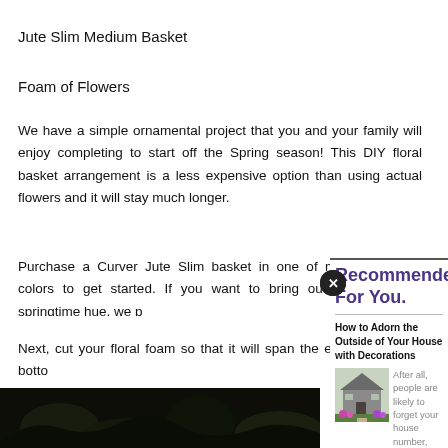Jute Slim Medium Basket
Foam of Flowers
We have a simple ornamental project that you and your family will enjoy completing to start off the Spring season! This DIY floral basket arrangement is a less expensive option than using actual flowers and it will stay much longer.
Purchase a Curver Jute Slim basket in one of many colors to get started. If you want to bring out that springtime hue, we p…
Next, cut your floral foam so that it will span the entire botto…
[Figure (photo): Dark photo of plants/foliage, bottom left of page]
[Figure (infographic): Recommended For You overlay panel with purple heading, article title 'How to Adorn the Outside of Your House with Decorations', house photo, and snippet text]
Recommended For You.
How to Adorn the Outside of Your House with Decorations
[Figure (photo): Photo of a house exterior with garden]
After all, people are likely to forget your house number, but the image of your stunning façade will remain ingrained